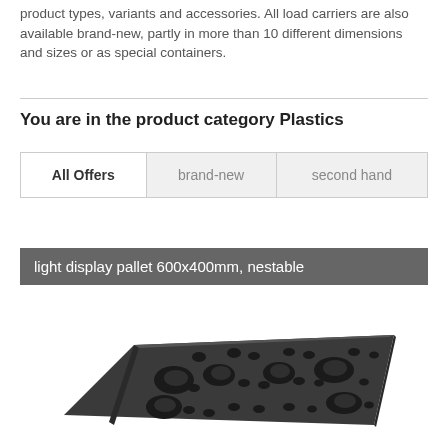product types, variants and accessories. All load carriers are also available brand-new, partly in more than 10 different dimensions and sizes or as special containers.
You are in the product category Plastics
| All Offers | brand-new | second hand |
| --- | --- | --- |
light display pallet 600x400mm, nestable
[Figure (photo): Photo of a dark grey/black plastic light display pallet with circular holes and a nestable grid structure, viewed at an angle from above.]